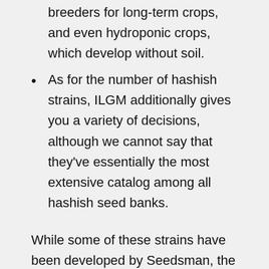variations and are used by experienced breeders for long-term crops, and even hydroponic crops, which develop without soil.
As for the number of hashish strains, ILGM additionally gives you a variety of decisions, although we cannot say that they've essentially the most extensive catalog among all hashish seed banks.
While some of these strains have been developed by Seedsman, the bulk come from over sixty five other seed banks. Seedsman is among the many few large seed banks that offer single seed purchases. Generally, Seedsman seeds come healthy and pristine, and they produce attractive plants.